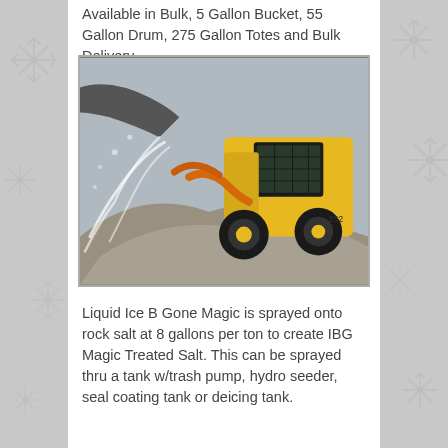Available in Bulk, 5 Gallon Bucket, 55 Gallon Drum, 275 Gallon Totes and Bulk Delivery.
[Figure (photo): A yellow skid steer loader spraying liquid onto a large pile of rock salt or gravel outdoors.]
Liquid Ice B Gone Magic is sprayed onto rock salt at 8 gallons per ton to create IBG Magic Treated Salt. This can be sprayed thru a tank w/trash pump, hydro seeder, seal coating tank or deicing tank.